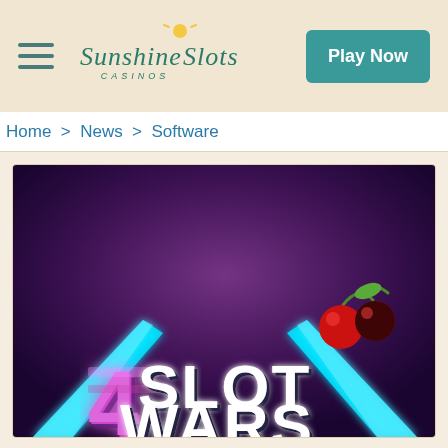Sunshine Slots Casinos — Play Now
Home > News > Software
[Figure (illustration): Slot Wars promotional game art with glowing cyan lightsaber-style beams, large bold white text reading SLOT WARS, colorful 3D slot machine symbols including a cherry and a stylized number 4 symbol, on a dark purple background.]